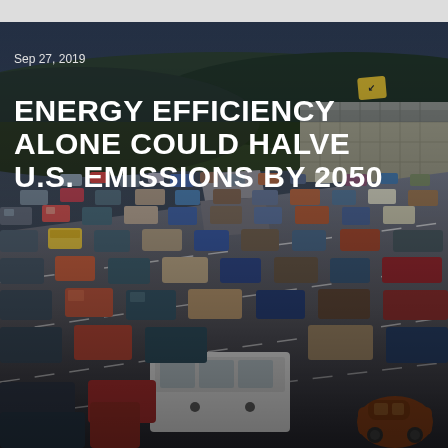Sep 27, 2019
[Figure (photo): Aerial view of a congested multi-lane highway filled with cars, trucks, and vehicles in heavy traffic. The scene is captured from an elevated angle showing multiple lanes of bumper-to-bumper traffic with various vehicles including sedans, SUVs, and a white truck.]
ENERGY EFFICIENCY ALONE COULD HALVE U.S. EMISSIONS BY 2050